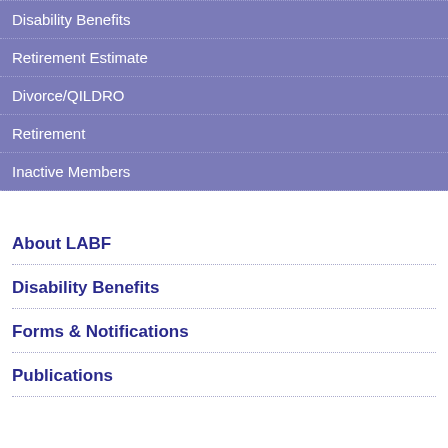Disability Benefits
Retirement Estimate
Divorce/QILDRO
Retirement
Inactive Members
About LABF
Disability Benefits
Forms & Notifications
Publications